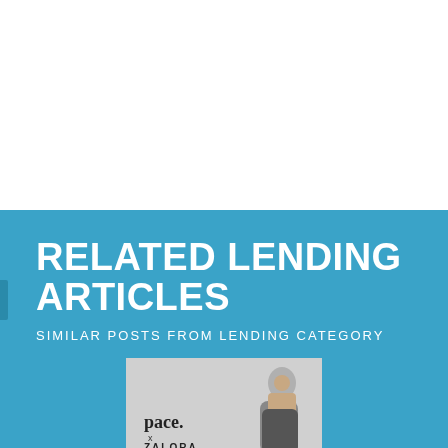RELATED LENDING ARTICLES
SIMILAR POSTS FROM LENDING CATEGORY
[Figure (photo): A person wearing glasses and a jacket, standing next to a 'pace. x ZALORA' logo on a light grey background — thumbnail image for a related lending article.]